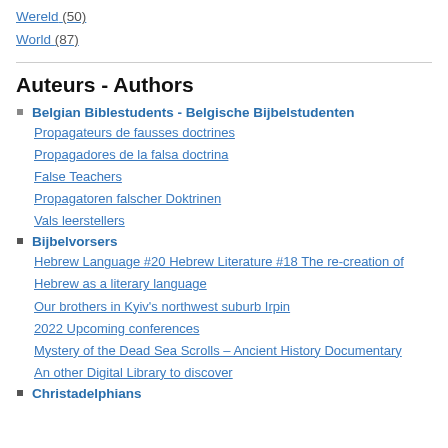Wereld (50)
World (87)
Auteurs - Authors
Belgian Biblestudents - Belgische Bijbelstudenten
Propagateurs de fausses doctrines
Propagadores de la falsa doctrina
False Teachers
Propagatoren falscher Doktrinen
Vals leerstellers
Bijbelvorsers
Hebrew Language #20 Hebrew Literature #18 The re-creation of Hebrew as a literary language
Our brothers in Kyiv’s northwest suburb Irpin
2022 Upcoming conferences
Mystery of the Dead Sea Scrolls – Ancient History Documentary
An other Digital Library to discover
Christadelphians